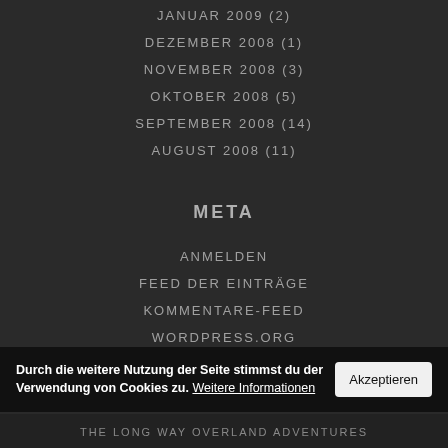JANUAR 2009 (2)
DEZEMBER 2008 (1)
NOVEMBER 2008 (3)
OKTOBER 2008 (5)
SEPTEMBER 2008 (14)
AUGUST 2008 (11)
META
ANMELDEN
FEED DER EINTRÄGE
KOMMENTARE-FEED
WORDPRESS.ORG
Durch die weitere Nutzung der Seite stimmst du der Verwendung von Cookies zu. Weitere Informationen
THE LONG WAY OVERLAND ADVENTURES